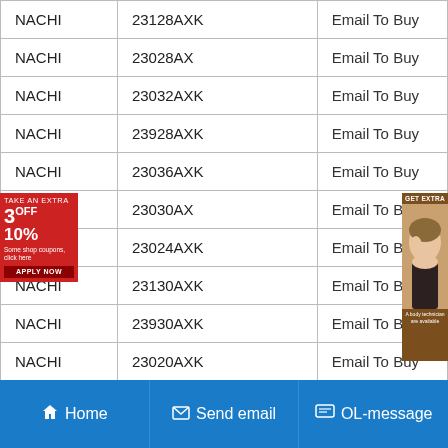| Brand | Part Number | Action |
| --- | --- | --- |
| NACHI | 23128AXK | Email To Buy |
| NACHI | 23028AX | Email To Buy |
| NACHI | 23032AXK | Email To Buy |
| NACHI | 23928AXK | Email To Buy |
| NACHI | 23036AXK | Email To Buy |
| NACHI | 23030AX | Email To Buy |
| NACHI | 23024AXK | Email To Buy |
| NACHI | 23130AXK | Email To Buy |
| NACHI | 23930AXK | Email To Buy |
| NACHI | 23020AXK | Email To Buy |
| NACHI | 23026AXK | Email To Buy |
Home   Send email   OL-message